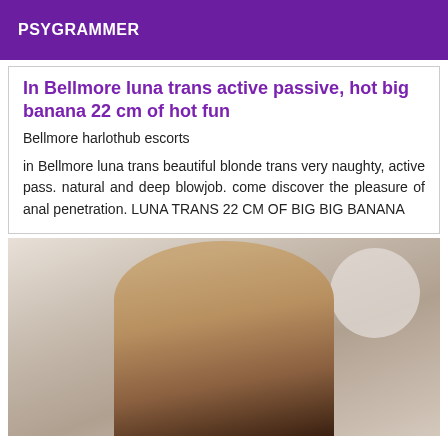PSYGRAMMER
In Bellmore luna trans active passive, hot big banana 22 cm of hot fun
Bellmore harlothub escorts
in Bellmore luna trans beautiful blonde trans very naughty, active pass. natural and deep blowjob. come discover the pleasure of anal penetration. LUNA TRANS 22 CM OF BIG BIG BANANA
[Figure (photo): Photo of a blonde trans woman with long hair, wearing dark clothing with a teal necklace, standing indoors near a circular window.]